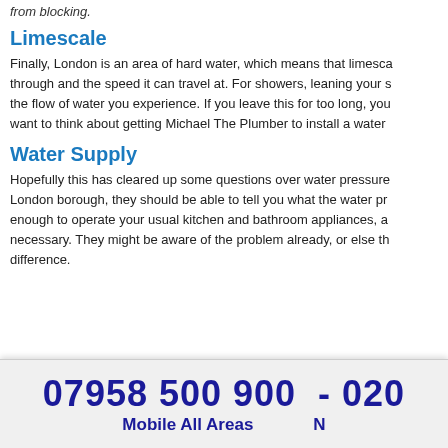from blocking.
Limescale
Finally, London is an area of hard water, which means that limesca... through and the speed it can travel at. For showers, leaning your s... the flow of water you experience. If you leave this for too long, you... want to think about getting Michael The Plumber to install a water...
Water Supply
Hopefully this has cleared up some questions over water pressure... London borough, they should be able to tell you what the water pr... enough to operate your usual kitchen and bathroom appliances, a... necessary. They might be aware of the problem already, or else th... difference.
07958 500 900 - 020 | Mobile All Areas | N